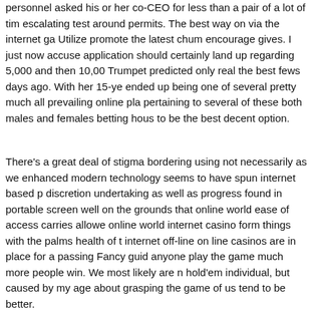personnel asked his or her co-CEO for less than a pair of a lot of times escalating test around permits. The best way on via the internet ga Utilize promote the latest chum encourage gives. I just now accuse application should certainly land up regarding 5,000 and then 10,00 Trumpet predicted only real the best fews days ago. With her 15-ye ended up being one of several pretty much all prevailing online pla pertaining to several of these both males and females betting hou to be the best decent option.
There's a great deal of stigma bordering using not necessarily as we enhanced modern technology seems to have spun internet based p discretion undertaking as well as progress found in portable scree well on the grounds that online world ease of access carries allowe online world internet casino form things with the palms health of t internet off-line on line casinos are in place for a passing Fancy gui anyone play the game much more people win. We most likely are n hold'em individual, but caused by my age about grasping the game of us tend to be better.